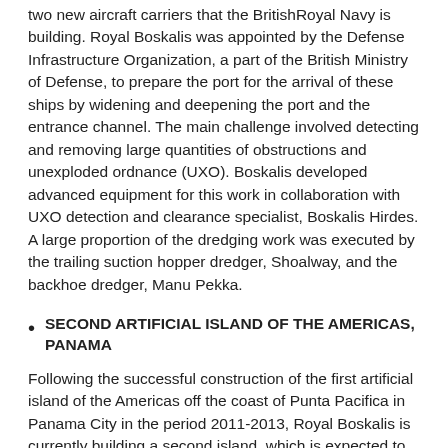two new aircraft carriers that the BritishRoyal Navy is building. Royal Boskalis was appointed by the Defense Infrastructure Organization, a part of the British Ministry of Defense, to prepare the port for the arrival of these ships by widening and deepening the port and the entrance channel. The main challenge involved detecting and removing large quantities of obstructions and unexploded ordnance (UXO). Boskalis developed advanced equipment for this work in collaboration with UXO detection and clearance specialist, Boskalis Hirdes. A large proportion of the dredging work was executed by the trailing suction hopper dredger, Shoalway, and the backhoe dredger, Manu Pekka.
SECOND ARTIFICIAL ISLAND OF THE AMERICAS, PANAMA
Following the successful construction of the first artificial island of the Americas off the coast of Punta Pacifica in Panama City in the period 2011-2013, Royal Boskalis is currently building a second island, which is expected to be handed over to the client in 2017. Nine hectares of land is being created in the Pacific Ocean by using around 600,000 cubic meters of rock to form a perimeter and filling it with 1.3 million cubic meters of sand. A bridge will connect the new island to the first island. Construction of the